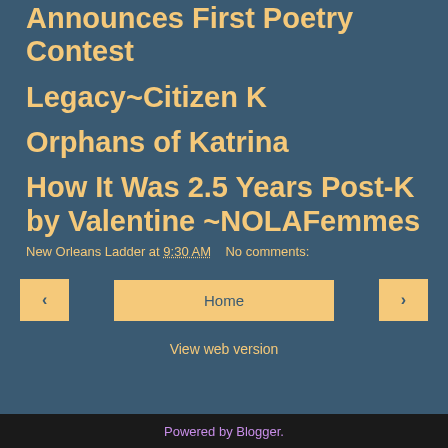Announces First Poetry Contest
Legacy~Citizen K
Orphans of Katrina
How It Was 2.5 Years Post-K by Valentine ~NOLAFemmes
New Orleans Ladder at 9:30 AM   No comments:
Home
View web version
Powered by Blogger.